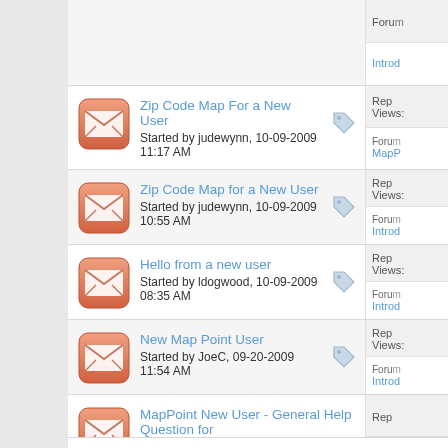Forum: Intro
(partial top row)
Zip Code Map For a New User
Started by judewynn, 10-09-2009 11:17 AM
Rep | Views:
Forum: MapP
Zip Code Map for a New User
Started by judewynn, 10-09-2009 10:55 AM
Rep | Views:
Forum: Introd
Hello from a new user
Started by ldogwood, 10-09-2009 08:35 AM
Rep | Views:
Forum: Introd
New Map Point User
Started by JoeC, 09-20-2009 11:54 AM
Rep | Views:
Forum: Introd
MapPoint New User - General Help Question for
Rep